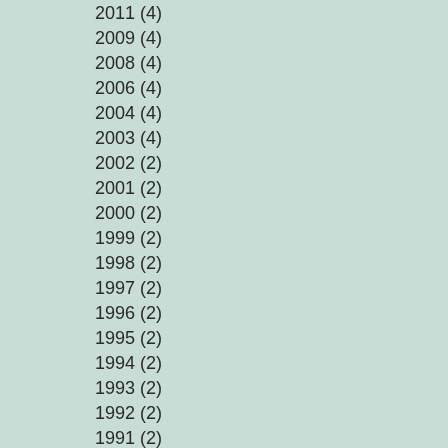2011 (4)
2009 (4)
2008 (4)
2006 (4)
2004 (4)
2003 (4)
2002 (2)
2001 (2)
2000 (2)
1999 (2)
1998 (2)
1997 (2)
1996 (2)
1995 (2)
1994 (2)
1993 (2)
1992 (2)
1991 (2)
1990 (2)